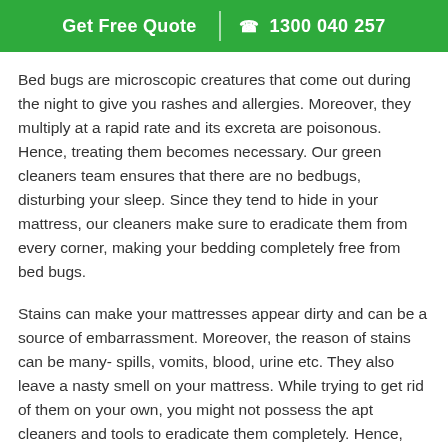Get Free Quote  | ☎ 1300 040 257
Bed bugs are microscopic creatures that come out during the night to give you rashes and allergies. Moreover, they multiply at a rapid rate and its excreta are poisonous. Hence, treating them becomes necessary. Our green cleaners team ensures that there are no bedbugs, disturbing your sleep. Since they tend to hide in your mattress, our cleaners make sure to eradicate them from every corner, making your bedding completely free from bed bugs.
Stains can make your mattresses appear dirty and can be a source of embarrassment. Moreover, the reason of stains can be many- spills, vomits, blood, urine etc. They also leave a nasty smell on your mattress. While trying to get rid of them on your own, you might not possess the apt cleaners and tools to eradicate them completely. Hence, professional help becomes necessary. Green cleaners team is there to help you out and make your mattresses free from all types of stains. Our mattress dry cleaning Kents Pocket procedure is efficient enough to